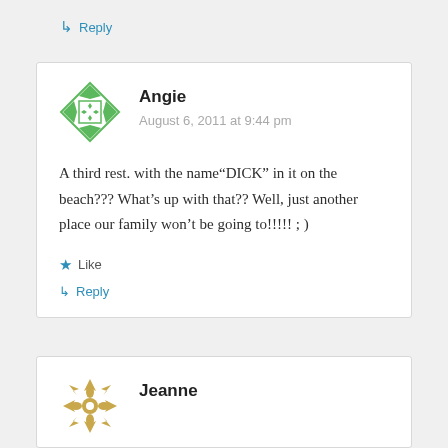↳ Reply
Angie
August 6, 2011 at 9:44 pm
A third rest. with the name“DICK” in it on the beach??? What’s up with that?? Well, just another place our family won’t be going to!!!!! ; )
★ Like
↳ Reply
Jeanne